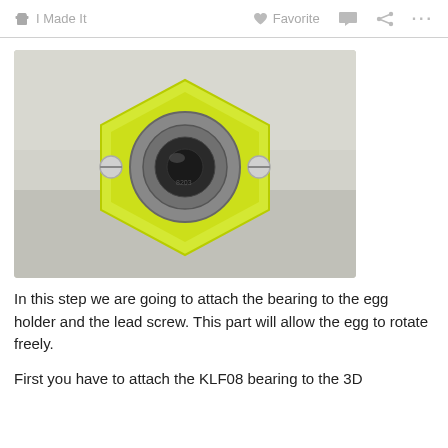I Made It   Favorite   ...
[Figure (photo): Close-up photo of a KLF08 bearing mounted in a 3D printed yellow pentagon-shaped bracket with two screws on either side. The bearing shows a metallic ring and dark center hole.]
In this step we are going to attach the bearing to the egg holder and the lead screw. This part will allow the egg to rotate freely.
First you have to attach the KLF08 bearing to the 3D